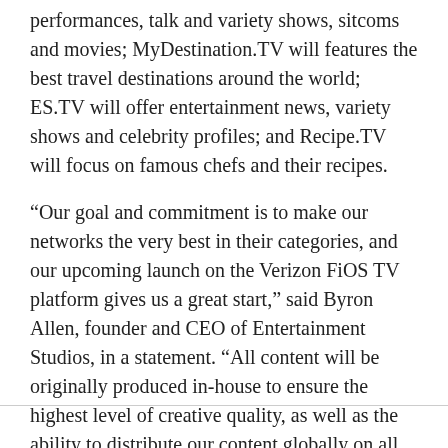performances, talk and variety shows, sitcoms and movies; MyDestination.TV will features the best travel destinations around the world; ES.TV will offer entertainment news, variety shows and celebrity profiles; and Recipe.TV will focus on famous chefs and their recipes.
“Our goal and commitment is to make our networks the very best in their categories, and our upcoming launch on the Verizon FiOS TV platform gives us a great start,” said Byron Allen, founder and CEO of Entertainment Studios, in a statement. “All content will be originally produced in-house to ensure the highest level of creative quality, as well as the ability to distribute our content globally on all platforms.”